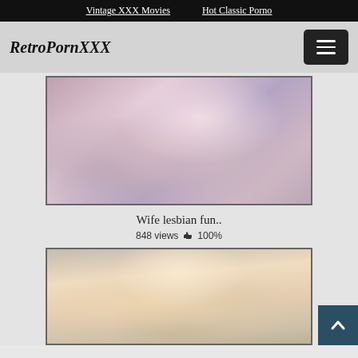Vintage XXX Movies  Hot Classic Porno
RetroPornXXX
[Figure (photo): Vintage retro adult video thumbnail showing two women on a bed with pink/purple bedding]
Wife lesbian fun..
848 views 👍 100%
[Figure (photo): Vintage retro adult video thumbnail showing a blonde woman close-up]